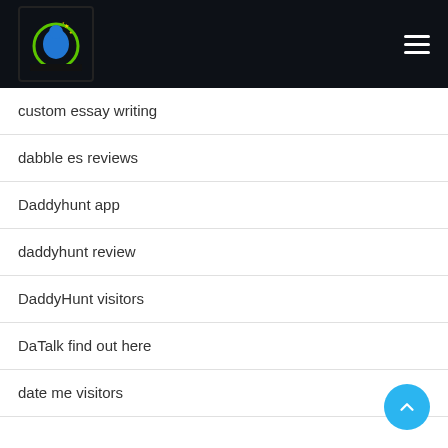[Figure (logo): Website logo with circular blue/green graphic and stars on dark background]
custom essay writing
dabble es reviews
Daddyhunt app
daddyhunt review
DaddyHunt visitors
DaTalk find out here
date me visitors